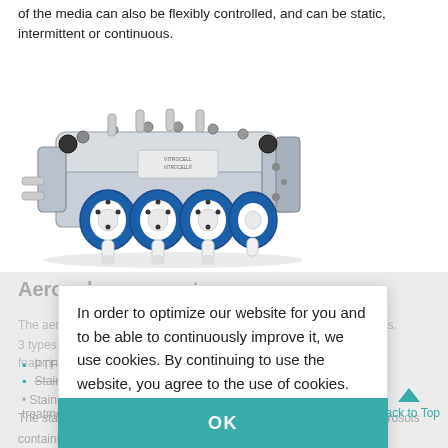of the media can also be flexibly controlled, and can be static, intermittent or continuous.
[Figure (photo): Product photo of a VITROCELL multi-well aerosol exposure system, showing a silver/white rectangular device with blue circular seals and white connectors/inlets on the front.]
Aerosol exposure top
The aerosol exposure top can configure distributors, inlets based inlets.
3 types of inlets are available as standard with all three featuring:
PTFE (Teflon)
Stainless Steel
Stainless Steel with unique VITROGLIDE surface treatment
The stainless steel / VITROGLIDE inlets are specially designed for aerosols containing nano-range particles. VITROCELL® calibration valves
In order to optimize our website for you and to be able to continuously improve it, we use cookies. By continuing to use the website, you agree to the use of cookies.  Learn more
OK
Back to Top